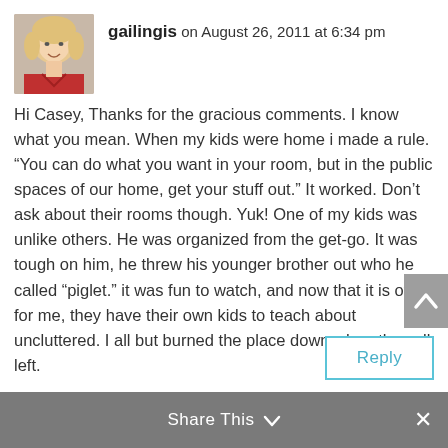[Figure (photo): Avatar photo of a blond woman wearing a red jacket, small square thumbnail]
gailingis on August 26, 2011 at 6:34 pm
Hi Casey, Thanks for the gracious comments. I know what you mean. When my kids were home i made a rule. “You can do what you want in your room, but in the public spaces of our home, get your stuff out.” It worked. Don’t ask about their rooms though. Yuk! One of my kids was unlike others. He was organized from the get-go. It was tough on him, he threw his younger brother out who he called “piglet.” it was fun to watch, and now that it is over for me, they have their own kids to teach about uncluttered. I all but burned the place down when they all left.
Reply
Share This ∨  ×